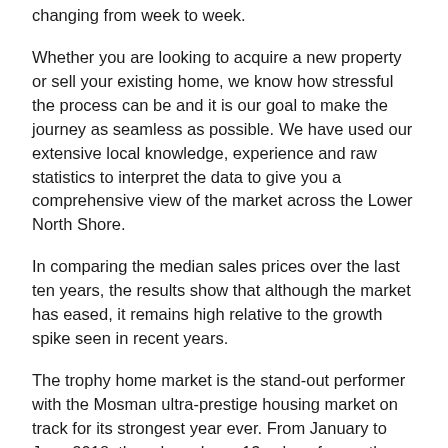changing from week to week.
Whether you are looking to acquire a new property or sell your existing home, we know how stressful the process can be and it is our goal to make the journey as seamless as possible. We have used our extensive local knowledge, experience and raw statistics to interpret the data to give you a comprehensive view of the market across the Lower North Shore.
In comparing the median sales prices over the last ten years, the results show that although the market has eased, it remains high relative to the growth spike seen in recent years.
The trophy home market is the stand-out performer with the Mosman ultra-prestige housing market on track for its strongest year ever. From January to June 2018, there have been 13 sales of more than $10,000,000, totalling more than $169,000,000 in real estate.